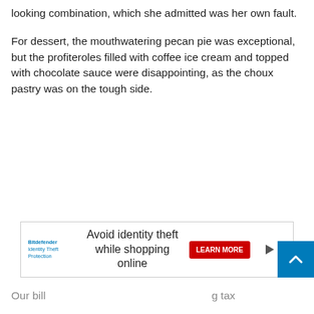looking combination, which she admitted was her own fault.
For dessert, the mouthwatering pecan pie was exceptional, but the profiteroles filled with coffee ice cream and topped with chocolate sauce were disappointing, as the choux pastry was on the tough side.
[Figure (other): Advertisement banner for Bitdefender Identity Theft Protection: 'Avoid identity theft while shopping online' with a red LEARN MORE button, play and close controls.]
[Figure (other): Blue scroll-to-top button with an upward arrow chevron icon.]
Our bill…g tax